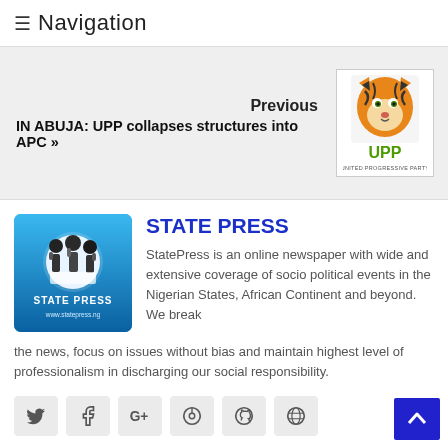≡ Navigation
Previous
IN ABUJA: UPP collapses structures into APC »
[Figure (logo): UPP United Progressive Party logo with tiger image]
[Figure (logo): State Press logo — blue background with journalists and text STATE PRESS www.statepress.ng]
STATE PRESS
StatePress is an online newspaper with wide and extensive coverage of socio political events in the Nigerian States, African Continent and beyond.  We break the news, focus on issues without bias and maintain highest level of professionalism in discharging our social responsibility.
[Figure (infographic): Social media icon buttons: Twitter, Facebook, Google+, Pinterest, GitHub, Dribbble]